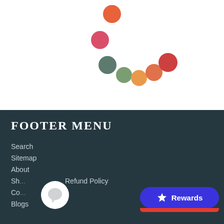[Figure (illustration): A loading spinner animation made of colored dots arranged in a curved arc pattern: orange dot at top center, red-pink dot below and left, dark teal/green dot further down-right, green dot, orange dot, orange-red dot, and red dot at the rightmost position — forming a descending-then-ascending curve in shades of orange, red, and green.]
FOOTER MENU
Search
Sitemap
About
Sh...
Co...
Blogs
Refund Policy